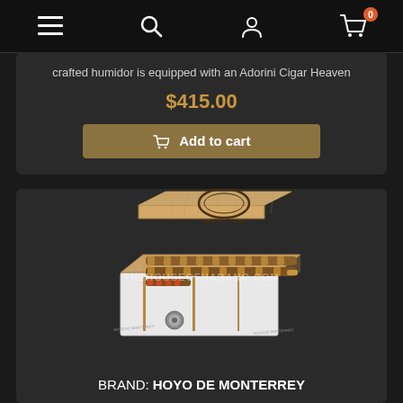Navigation bar with menu, search, account, and cart icons
crafted humidor is equipped with an Adorini Cigar Heaven
$415.00
Add to cart
[Figure (photo): Open wooden cigar humidor box with cedar lining showing HABANA CUBA brand stamp, filled with cigars, white exterior, with THEHOUSEOFHABANO.COM watermark]
BRAND: HOYO DE MONTERREY